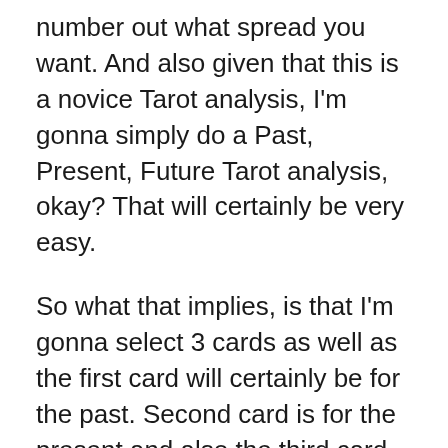number out what spread you want. And also given that this is a novice Tarot analysis, I'm gonna simply do a Past, Present, Future Tarot analysis, okay? That will certainly be very easy.
So what that implies, is that I'm gonna select 3 cards as well as the first card will certainly be for the past. Second card is for the present and also the third card is for the future. Okay, so since you have your inquiries, your spread all set, what you need to do is shuffle the cards.
So, we shuffle the cards to ensure that we can pick a card that is much more random. And some individuals state you're evasion the cards to clean the deck. So, I'm not sure